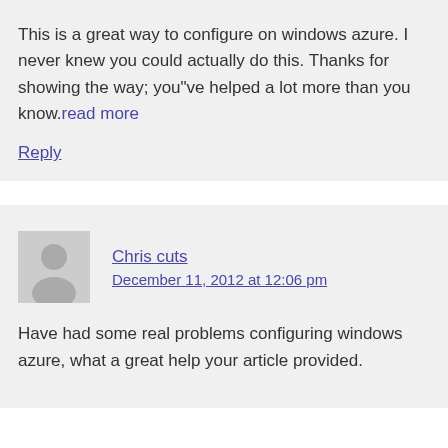This is a great way to configure on windows azure. I never knew you could actually do this. Thanks for showing the way; you"ve helped a lot more than you know.read more
Reply
Chris cuts
December 11, 2012 at 12:06 pm
Have had some real problems configuring windows azure, what a great help your article provided.